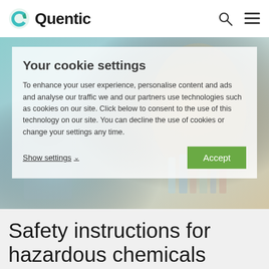Quentic
[Figure (screenshot): Cookie consent overlay on top of a lab/science background image showing a scientist in protective gear working with laboratory equipment and chemicals.]
Your cookie settings
To enhance your user experience, personalise content and ads and analyse our traffic we and our partners use technologies such as cookies on our site. Click below to consent to the use of this technology on our site. You can decline the use of cookies or change your settings any time.
Show settings
Accept
Safety instructions for hazardous chemicals